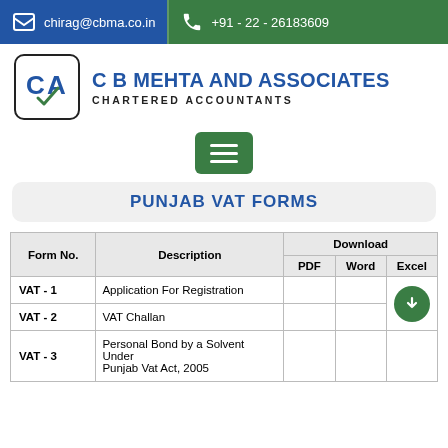chirag@cbma.co.in   +91 - 22 - 26183609
[Figure (logo): C B Mehta and Associates Chartered Accountants logo with CA emblem]
C B MEHTA AND ASSOCIATES
CHARTERED ACCOUNTANTS
PUNJAB VAT FORMS
| Form No. | Description | Download PDF | Download Word | Download Excel |
| --- | --- | --- | --- | --- |
| VAT - 1 | Application For Registration |  |  |  |
| VAT - 2 | VAT Challan |  |  |  |
| VAT - 3 | Personal Bond by a Solvent Under Punjab Vat Act, 2005 |  |  |  |